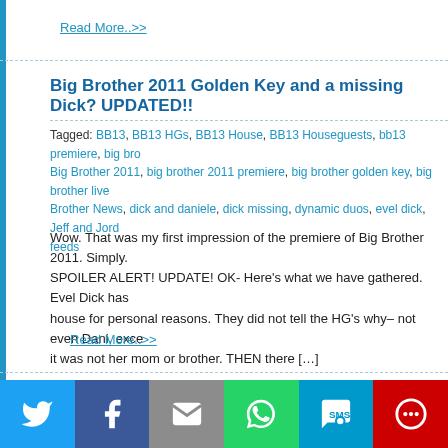Read More..>>
Big Brother 2011 Golden Key and a missing Dick? UPDATED!!
Tagged: BB13, BB13 HGs, BB13 House, BB13 Houseguests, bb13 premiere, big brother, Big Brother 2011, big brother 2011 premiere, big brother golden key, big brother live feeds, Big Brother News, dick and daniele, dick missing, dynamic duos, evel dick, Jeff and Jordan, feeds
Wow. That was my first impression of the premiere of Big Brother 2011. Simply. SPOILER ALERT! UPDATE! OK- Here's what we have gathered.  Evel Dick has left the house for personal reasons. They did not tell the HG's why– not even Dani, except it was not her mom or brother. THEN there […]
Read More..>>
Big Brother 2011- Let's talk about Dynamic Duos
Tagged: BB 2011, BB13, BB13 HGs, BB13 House, BB13 Houseguests, bb13 twist, big brother 13, Big Brother 13 Houseguest, Big Brother 2011, big brother 2011 premiere, big brother...